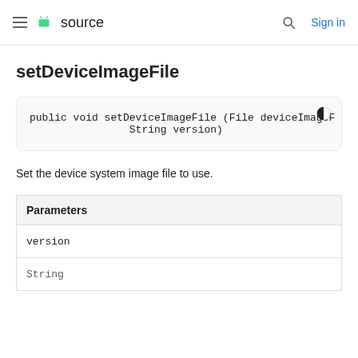≡  🤖 source   🔍  Sign in
setDeviceImageFile
[Figure (screenshot): Code block showing: public void setDeviceImageFile (File deviceImageFile, String version)]
Set the device system image file to use.
| Parameters |
| --- |
| version | String |